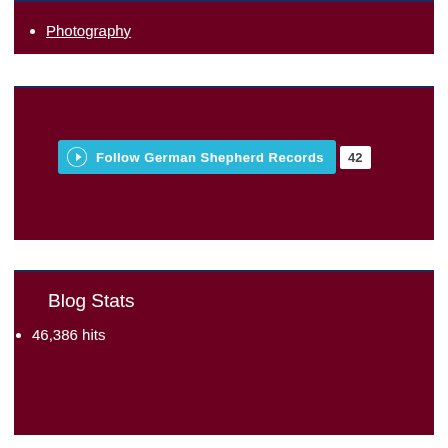Photography
[Figure (screenshot): WordPress Follow button for 'German Shepherd Records' with follower count of 42]
Blog Stats
46,386 hits